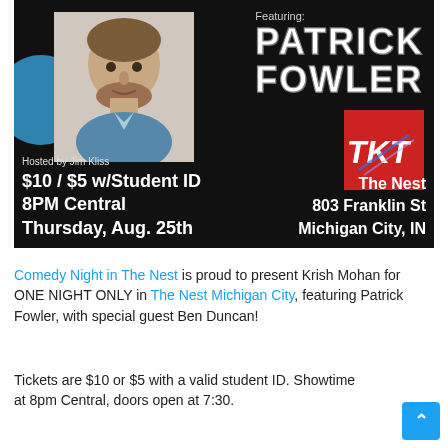[Figure (infographic): Event poster on black background. Shows a headshot photo of a bearded young man, a blue circle accent, text 'Featuring: PATRICK FOWLER' in large white distressed font, a red logo box with stylized letters, host info 'Hosted by Jim Kliss', pricing '$10 / $5 w/Student ID', '8PM Central', 'Thursday, Aug. 25th', and venue info 'The Nest 803 Franklin St Michigan City, IN'.]
Comedy Night in The Nest is proud to present Krish Mohan for ONE NIGHT ONLY in The Nest Michigan City, featuring Patrick Fowler, with special guest Ben Duncan!
Tickets are $10 or $5 with a valid student ID. Showtime at 8pm Central, doors open at 7:30.